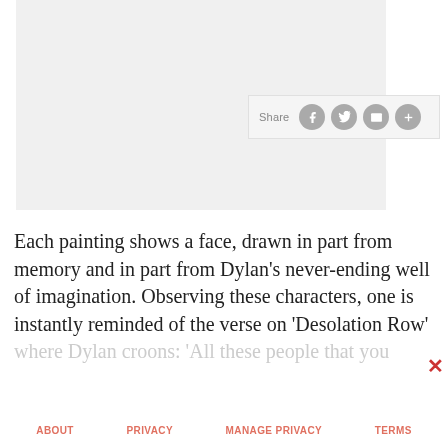[Figure (photo): Light gray rectangular image placeholder area]
[Figure (screenshot): Share bar with Facebook, Twitter, email, and plus icons]
Each painting shows a face, drawn in part from memory and in part from Dylan’s never-ending well of imagination. Observing these characters, one is instantly reminded of the verse on ‘Desolation Row’ where Dylan croons: ‘All these people that you
ABOUT   PRIVACY   MANAGE PRIVACY   TERMS